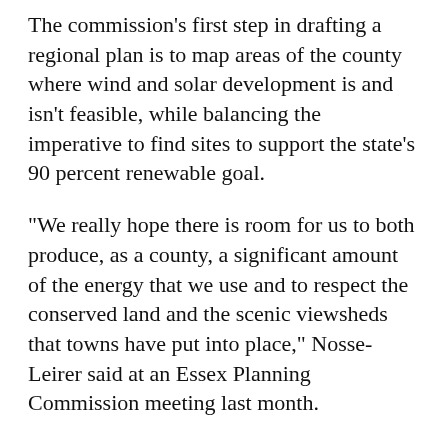The commission's first step in drafting a regional plan is to map areas of the county where wind and solar development is and isn't feasible, while balancing the imperative to find sites to support the state's 90 percent renewable goal.
“We really hope there is room for us to both produce, as a county, a significant amount of the energy that we use and to respect the conserved land and the scenic viewsheds that towns have put into place,” Nosse-Leirer said at an Essex Planning Commission meeting last month.
The CCRPC has already mapped parcels suitable for wind turbines and solar arrays based on projected wind speed, topography and whether land is forested or cleared. Now it is using a process of elimination to exclude wetlands, riverbeds, roads, rare or irreplaceable habitats and flood zones. Regional planners are seeking municipal input on parcels that should be excluded.
Essex’s town plan was updated earlier this year and